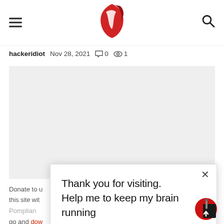hackeridiot blog - navigation header with logo
hackeridiot  Nov 28, 2021  0  1
[Figure (other): Gray placeholder content area]
Donate to u... p for this site wit... n to Pomplian... go and dow... immediat...
Thank you for visiting. Help me to keep my brain running